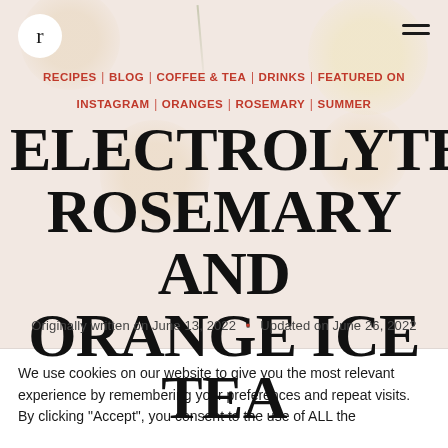r (logo) | hamburger menu
RECIPES | BLOG | COFFEE & TEA | DRINKS | FEATURED ON INSTAGRAM | ORANGES | ROSEMARY | SUMMER
ELECTROLYTE ROSEMARY AND ORANGE ICE TEA
Originally written on June 13, 2022 • Updated on June 26, 2022
We use cookies on our website to give you the most relevant experience by remembering your preferences and repeat visits. By clicking "Accept", you consent to the use of ALL the